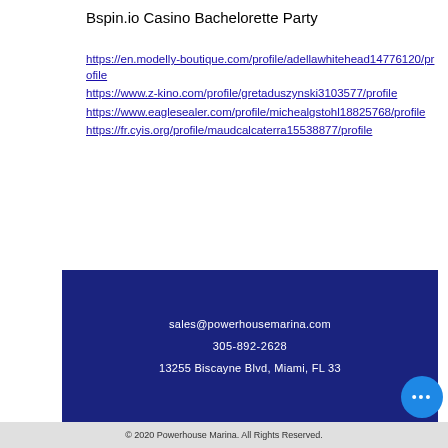Bspin.io Casino Bachelorette Party
https://en.modelly-boutique.com/profile/adellawhitehead14776120/profile
https://www.z-kino.com/profile/gretaduszynski3103577/profile
https://www.eaglesealer.com/profile/michealgstohl18825768/profile
https://fr.cyis.org/profile/maudcalcaterra15538877/profile
sales@powerhousemarina.com
305-892-2628
13255 Biscayne Blvd, Miami, FL 33
© 2020 Powerhouse Marina. All Rights Reserved.